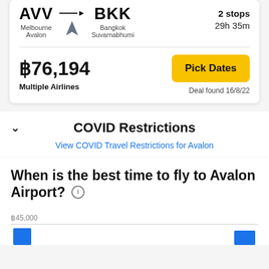AVV → BKK | Melbourne Avalon → Bangkok Suvarnabhumi | 2 stops | 29h 35m
฿76,194
Multiple Airlines
Pick Dates
Deal found 16/8/22
COVID Restrictions
View COVID Travel Restrictions for Avalon
When is the best time to fly to Avalon Airport?
฿45,000